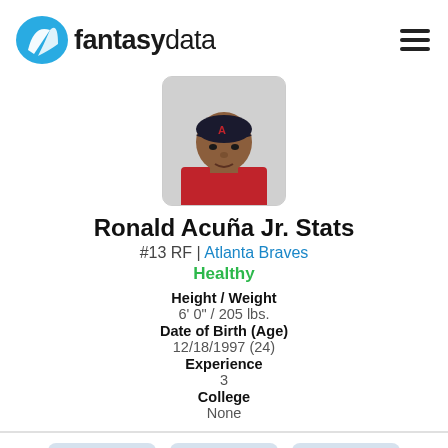[Figure (logo): FantasyData logo with blue circular icon and brand name]
[Figure (photo): Ronald Acuña Jr. player headshot wearing Atlanta Braves cap]
Ronald Acuña Jr. Stats
#13 RF | Atlanta Braves
Healthy
Height / Weight
6' 0" / 205 lbs.
Date of Birth (Age)
12/18/1997 (24)
Experience
3
College
None
0.412
0.138
2.5